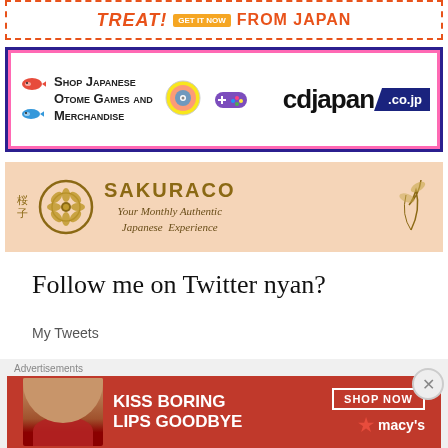[Figure (illustration): Advertisement banner with orange dashed border. Text reads TREAT and FROM JAPAN with a GET IT NOW button.]
[Figure (illustration): CDJapan advertisement. Dark blue border with pink outline. Text: Shop Japanese Otome Games and Merchandise. CDJapan.co.jp logo with dark blue triangle.]
[Figure (illustration): Sakuraco advertisement. Peach/salmon background. Japanese kanji 桜子, golden circle emblem, text SAKURACO Your Monthly Authentic Japanese Experience.]
Follow me on Twitter nyan?
My Tweets
Advertisements
[Figure (illustration): Macy's advertisement banner with red background. Text: KISS BORING LIPS GOODBYE. SHOP NOW button and Macy's star logo. Image of woman.]